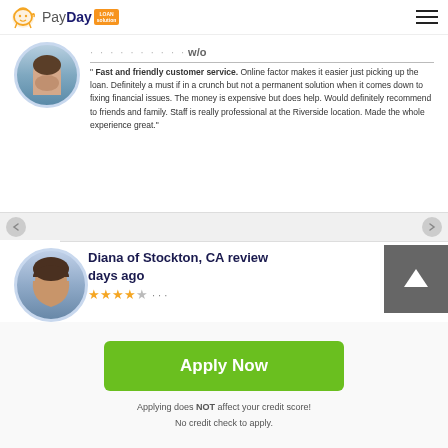PayDay Loan Solution
" Fast and friendly customer service. Online factor makes it easier just picking up the loan. Definitely a must if in a crunch but not a permanent solution when it comes down to fixing financial issues. The money is expensive but does help. Would definitely recommend to friends and family. Staff is really professional at the Riverside location. Made the whole experience great."
Diana of Stockton, CA review days ago
Apply Now
Applying does NOT affect your credit score!
No credit check to apply.